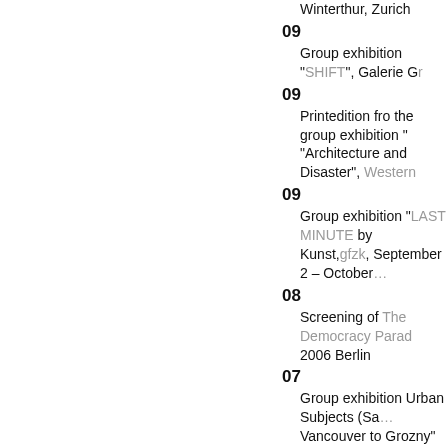Winterthur, Zurich
09
Group exhibition "SHIFT", Galerie G...
09
Printedition fro the group exhibition "Architecture and Disaster", Western...
09
Group exhibition "LAST MINUTE by Kunst,gfzk, September 2 – October ...
08
Screening of The Democracy Parad... 2006 Berlin
07
Group exhibition Urban Subjects (Sa... Vancouver to Grozny" part of Emerg... and presented at Centre A July 8 – A...
06
Group exhibition   "Why Pictures No...
06
Solo exhibition "bitterweber:live like... September 09, 2006 Innsbruck open...
06
Group exhibition  "Urbi & Orbi" Bien...
05